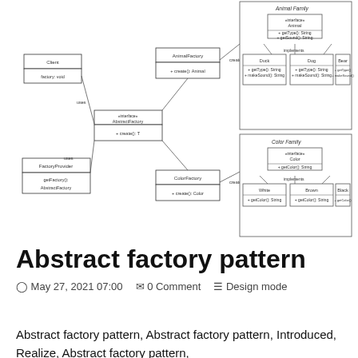[Figure (engineering-diagram): UML class diagram showing Abstract Factory Pattern with AnimalFactory and ColorFactory implementing AbstractFactory interface. Animal Family and Color Family hierarchies shown on the right with interface classes and implementing concrete classes (Duck, Dog, Bear for animals; White, Brown, Black for colors).]
Abstract factory pattern
May 27, 2021 07:00   0 Comment   Design mode
Abstract factory pattern, Abstract factory pattern, Introduced, Realize, Abstract factory pattern,